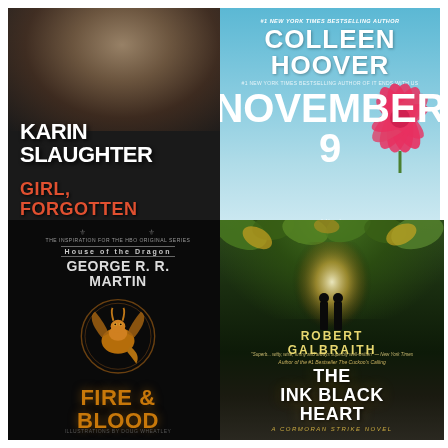[Figure (illustration): Book cover: 'Girl, Forgotten' by Karin Slaughter. Dark background with a woman's face partially visible. Title in red/orange text, author name in white bold text. New York Times Bestselling Author tagline at top.]
[Figure (illustration): Book cover: 'November 9' by Colleen Hoover. Light blue background with large white number 9 and a pink flower. Author name 'COLLEEN HOOVER' in large white bold text at top.]
[Figure (illustration): Book cover: 'Fire & Blood' by George R.R. Martin. Black background with golden Targaryen dragon sigil. Title in gold/amber text. Subtitle references House of the Dragon HBO series.]
[Figure (illustration): Book cover: 'The Ink Black Heart' by Robert Galbraith. Dark background with two silhouetted figures in a glowing archway surrounded by foliage. 'A Cormoran Strike Novel' subtitle. Author name in gold text.]